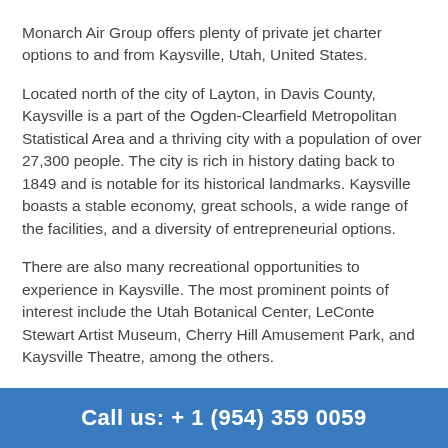Monarch Air Group offers plenty of private jet charter options to and from Kaysville, Utah, United States.
Located north of the city of Layton, in Davis County, Kaysville is a part of the Ogden-Clearfield Metropolitan Statistical Area and a thriving city with a population of over 27,300 people. The city is rich in history dating back to 1849 and is notable for its historical landmarks. Kaysville boasts a stable economy, great schools, a wide range of the facilities, and a diversity of entrepreneurial options.
There are also many recreational opportunities to experience in Kaysville. The most prominent points of interest include the Utah Botanical Center, LeConte Stewart Artist Museum, Cherry Hill Amusement Park, and Kaysville Theatre, among the others.
The nearest major airports to Kaysville are Ogden
Call us: + 1 (954) 359 0059